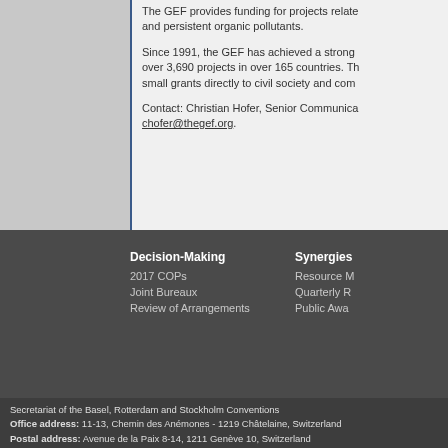The GEF provides funding for projects related to and persistent organic pollutants.
Since 1991, the GEF has achieved a strong over 3,690 projects in over 165 countries. The small grants directly to civil society and community.
Contact: Christian Hofer, Senior Communications chofer@thegef.org.
Decision-Making
2017 COPs
Joint Bureaux
Review of Arrangements
Synergies
Resource M
Quarterly R
Public Awa
Secretariat of the Basel, Rotterdam and Stockholm Conventions
Office address: 11-13, Chemin des Anémones - 1219 Châtelaine, Switzerland
Postal address: Avenue de la Paix 8-14, 1211 Genève 10, Switzerland
Tel.: +41 (0)22 917 8271 - Fax: +41 (0)22 917 8098